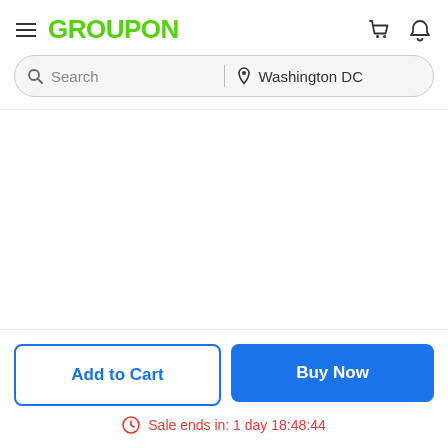GROUPON
Search | Washington DC
Add to Cart
Buy Now
Sale ends in: 1 day 18:48:44